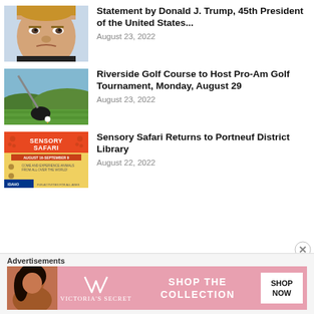[Figure (photo): Close-up photo of Donald Trump's face]
Statement by Donald J. Trump, 45th President of the United States...
August 23, 2022
[Figure (photo): Golf course with golf club and ball on tee]
Riverside Golf Course to Host Pro-Am Golf Tournament, Monday, August 29
August 23, 2022
[Figure (photo): Sensory Safari event flyer with animal paw prints on orange and yellow background]
Sensory Safari Returns to Portneuf District Library
August 22, 2022
Advertisements
[Figure (other): Victoria's Secret advertisement banner with model photo, VS logo, 'SHOP THE COLLECTION' text and SHOP NOW button]